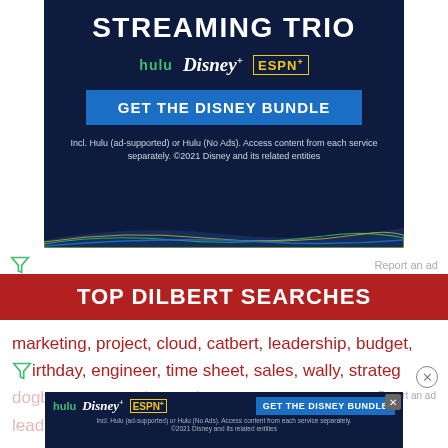[Figure (screenshot): Disney Streaming Trio advertisement banner with dark navy blue background. Shows 'STREAMING TRIO' heading, Hulu/Disney+/ESPN+ logos, 'GET THE DISNEY BUNDLE' blue button, and disclaimer text. Gradient wave decoration at bottom.]
Report an ad
TOP DILBERT SEARCHES
marketing, project, cloud, catbert, leadership, budget, birthday, engineer, time sheet, sales, wally, strategy, dogbert, powerpoint, project management, topper, leadership, performance, improvement,
[Figure (screenshot): Small Disney Bundle advertisement bar at bottom. Shows Hulu/Disney+/ESPN+ logos and 'GET THE DISNEY BUNDLE' button with disclaimer text.]